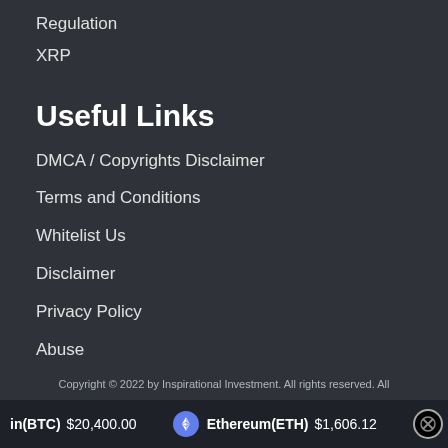Regulation
XRP
Useful Links
DMCA / Copyrights Disclaimer
Terms and Conditions
Whitelist Us
Disclaimer
Privacy Policy
Abuse
Copyright © 2022 by Inspirational Investment. All rights reserved. All
in(BTC) $20,400.00   Ethereum(ETH) $1,606.12   XRP(XRP)